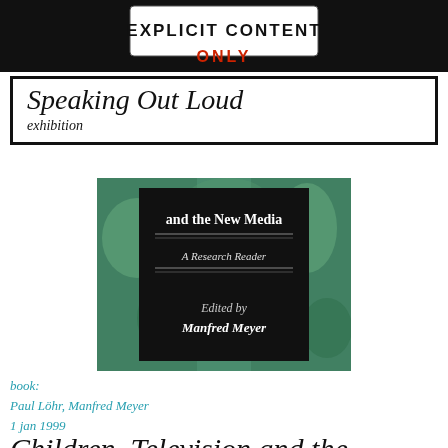[Figure (photo): Black background banner with a white label reading 'EXPLICIT CONTENT' and partial red text below]
Speaking Out Loud
exhibition
[Figure (photo): Book cover showing 'and the New Media / A Research Reader / Edited by Manfred Meyer' on a black panel over a green textured background]
book:
Paul Löhr, Manfred Meyer
1 jan 1999
Children, Television and the New Media
[Figure (photo): Partial view of a colorful psychedelic book cover with text 'Conceptual Issues in Cyberspace' in teal on yellow/green/magenta background]